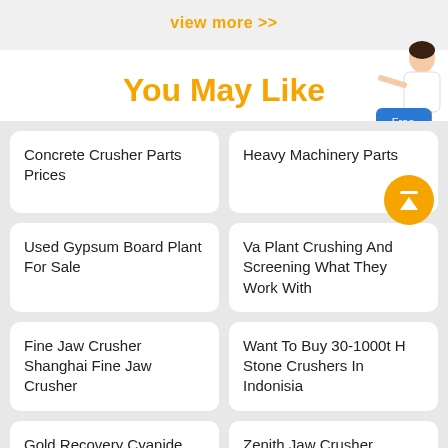view more >>
You May Like
Concrete Crusher Parts Prices
Heavy Machinery Parts
Used Gypsum Board Plant For Sale
Va Plant Crushing And Screening What They Work With
Fine Jaw Crusher Shanghai Fine Jaw Crusher
Want To Buy 30-1000t H Stone Crushers In Indonisia
Gold Recovery Cyanide Pilote Plant
Zenith Jaw Crusher